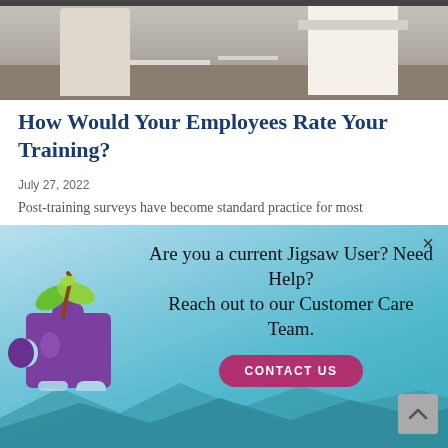[Figure (photo): Photo of people at desks in a training or office setting, viewed from above/side, showing a person in white shirt]
How Would Your Employees Rate Your Training?
July 27, 2022
Post-training surveys have become standard practice for most
[Figure (infographic): Popup modal with teal/light blue gradient background, Jigsaw Learning logo (purple puzzle piece with green plant sprout), text 'Are you a current Jigsaw User? Need Help? Reach out to our Customer Care Team.' and a pink CONTACT US button. Has a close X button in top right and scroll-to-top arrow button in bottom right.]